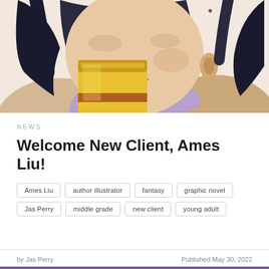[Figure (illustration): Digital illustration of a young woman with dark hair drinking through a straw from a yellow juice box, cropped to show face, neck, and hands against a warm peachy-beige background.]
NEWS
Welcome New Client, Ames Liu!
Ames Liu  author illustrator  fantasy  graphic novel  Jas Perry  middle grade  new client  young adult
by Jas Perry    Published May 30, 2022